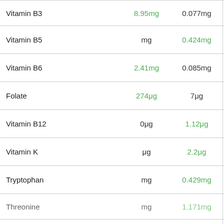| Nutrient | Value 1 | Value 2 |  |
| --- | --- | --- | --- |
| Vitamin B3 | 8.95mg | 0.077mg | herb |
| Vitamin B5 | mg | 0.424mg | cheese |
| Vitamin B6 | 2.41mg | 0.085mg | herb |
| Folate | 274μg | 7μg | herb |
| Vitamin B12 | 0μg | 1.12μg | cheese |
| Vitamin K | μg | 2.2μg | cheese |
| Tryptophan | mg | 0.429mg | cheese |
| Threonine | mg | 1.171mg | cheese |
| Isoleucine | mg | 1.695mg | cheese |